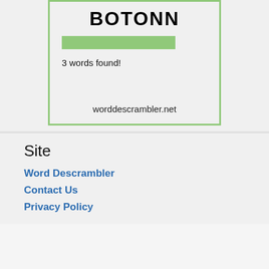BOTONN
[Figure (other): Green horizontal progress/search bar]
3 words found!
worddescrambler.net
Site
Word Descrambler
Contact Us
Privacy Policy